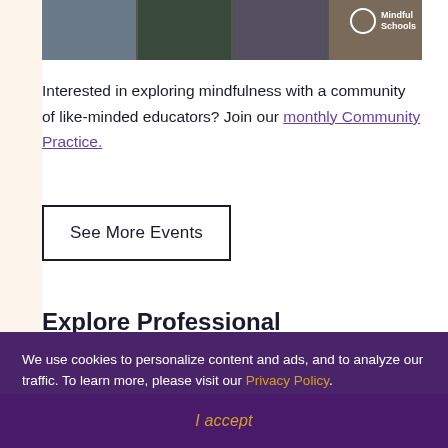[Figure (photo): Screenshot of a video call with multiple participants, Mindful Schools logo in top right]
Interested in exploring mindfulness with a community of like-minded educators? Join our monthly Community Practice.
See More Events
Explore Professional
We use cookies to personalize content and ads, and to analyze our traffic. To learn more, please visit our Privacy Policy.
I accept